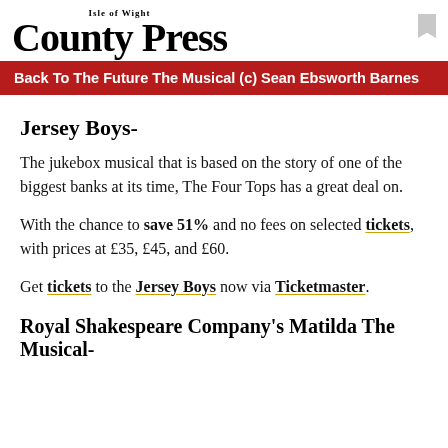Isle of Wight County Press
Back To The Future The Musical (c) Sean Ebsworth Barnes
Jersey Boys-
The jukebox musical that is based on the story of one of the biggest banks at its time, The Four Tops has a great deal on.
With the chance to save 51% and no fees on selected tickets, with prices at £35, £45, and £60.
Get tickets to the Jersey Boys now via Ticketmaster.
Royal Shakespeare Company's Matilda The Musical-